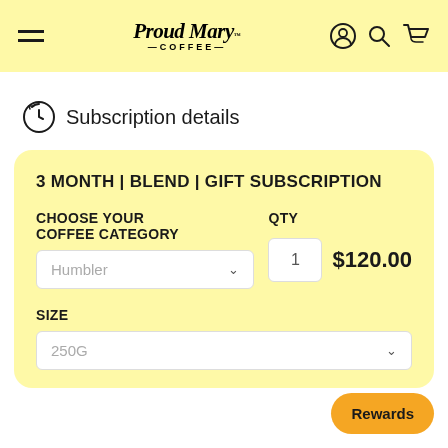[Figure (screenshot): Proud Mary Coffee website header with hamburger menu, cursive logo, and icons for account, search, and cart on yellow background]
Subscription details
3 MONTH | BLEND | GIFT SUBSCRIPTION
CHOOSE YOUR COFFEE CATEGORY
Humbler (dropdown)
QTY
1
$120.00
SIZE
250G (dropdown)
Rewards